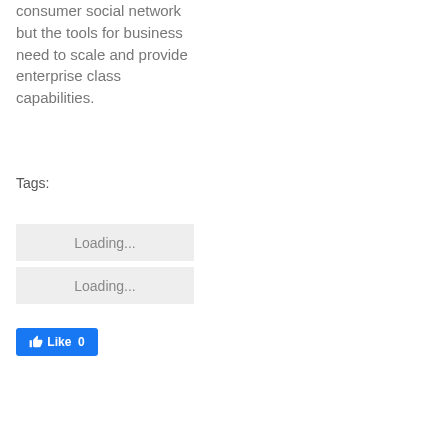consumer social network but the tools for business need to scale and provide enterprise class capabilities.
Tags:
[Figure (screenshot): Loading... button (grey rectangle)]
[Figure (screenshot): Loading... button (grey rectangle)]
[Figure (screenshot): Facebook Like button showing Like 0]